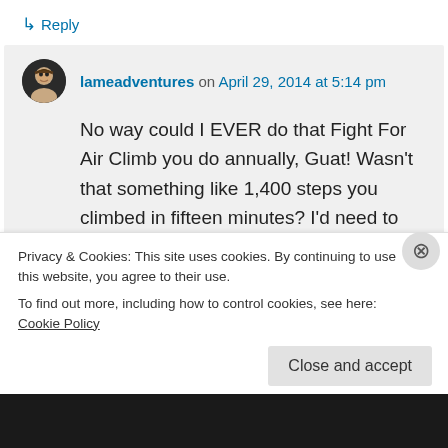↳ Reply
lameadventures on April 29, 2014 at 5:14 pm
No way could I EVER do that Fight For Air Climb you do annually, Guat! Wasn't that something like 1,400 steps you climbed in fifteen minutes? I'd need to break that accomplishment up — spread it out over fifteen days.
Privacy & Cookies: This site uses cookies. By continuing to use this website, you agree to their use.
To find out more, including how to control cookies, see here: Cookie Policy
Close and accept